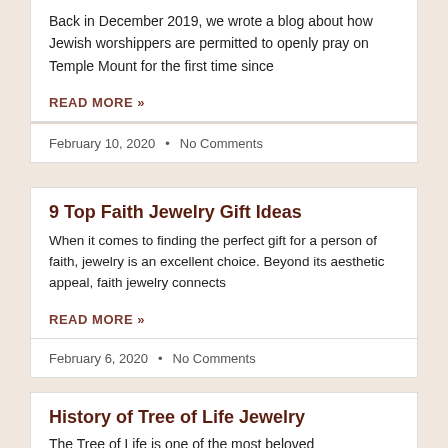Back in December 2019, we wrote a blog about how Jewish worshippers are permitted to openly pray on Temple Mount for the first time since
READ MORE »
February 10, 2020 · No Comments
9 Top Faith Jewelry Gift Ideas
When it comes to finding the perfect gift for a person of faith, jewelry is an excellent choice. Beyond its aesthetic appeal, faith jewelry connects
READ MORE »
February 6, 2020 · No Comments
History of Tree of Life Jewelry